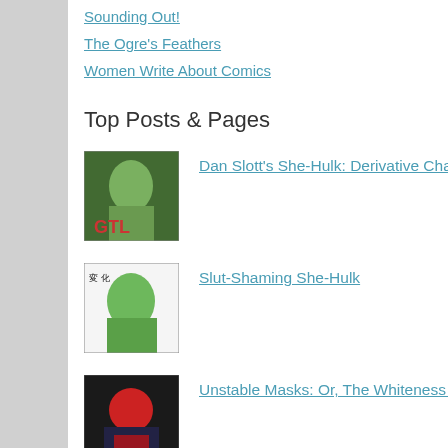Sounding Out!
The Ogre's Feathers
Women Write About Comics
Top Posts & Pages
[Figure (illustration): Comic book cover thumbnail - She-Hulk related image with green character]
Dan Slott's She-Hulk: Derivative Character as Meta-Comic
[Figure (illustration): Comic book cover thumbnail - She-Hulk green character illustration]
Slut-Shaming She-Hulk
[Figure (illustration): Comic book cover thumbnail - dark background with superhero]
Unstable Masks: Or, The Whiteness of the Superhero (a preview)
[Figure (illustration): Comic book cover thumbnail - colorful comic art]
Harley Quinn's Sexuality: A Tale of Three Lusts
[Figure (illustration): Comic book cover thumbnail - DC Cyborg related image]
Humanity Not Included: DC's Cyborg and the Mechanization of the Black